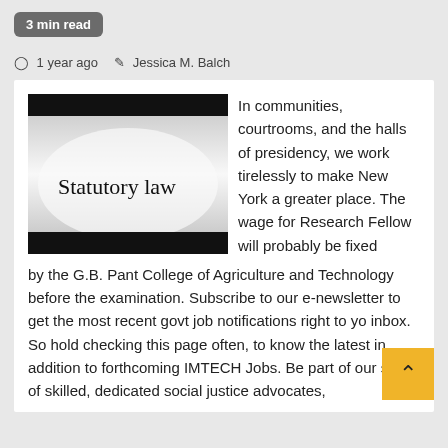3 min read
1 year ago   Jessica M. Balch
[Figure (photo): Grayscale image with text 'Statutory law' on a white page background with dark borders at top and bottom]
In communities, courtrooms, and the halls of presidency, we work tirelessly to make New York a greater place. The wage for Research Fellow will probably be fixed by the G.B. Pant College of Agriculture and Technology before the examination. Subscribe to our e-newsletter to get the most recent govt job notifications right to yo inbox. So hold checking this page often, to know the latest in addition to forthcoming IMTECH Jobs. Be part of our staff of skilled, dedicated social justice advocates,